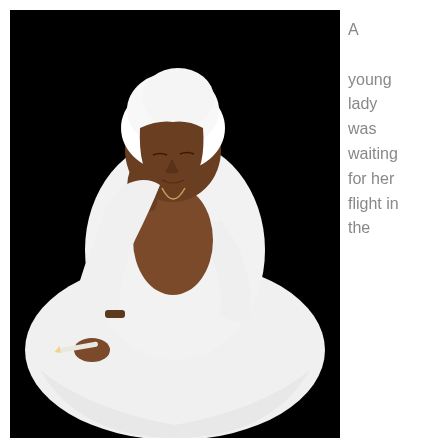[Figure (photo): A young woman dressed entirely in white, including a white headwrap, seated and looking down, holding a small object in her left hand. The background is black.]
A young lady was waiting for her flight in the